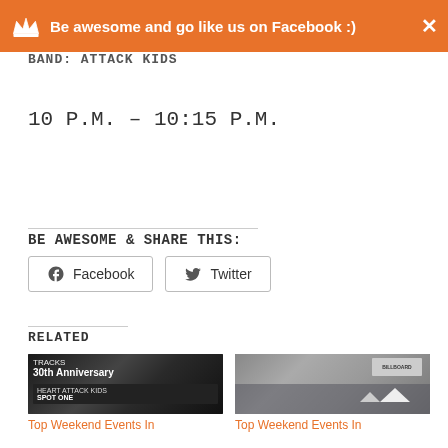Be awesome and go like us on Facebook :)
BAND: ATTACK KIDS
10 P.M. – 10:15 P.M.
BE AWESOME & SHARE THIS:
Facebook   Twitter
RELATED
[Figure (photo): Two related event thumbnail images: left showing a 30th Anniversary and Heart Attack Kids concert poster in dark theme; right showing a crowd at an outdoor urban event]
Top Weekend Events In
Top Weekend Events In